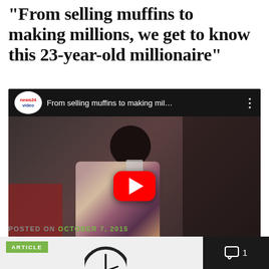"From selling muffins to making millions, we get to know this 23-year-old millionaire"
[Figure (screenshot): YouTube video embed showing a young man in a floral shirt seated, with a red YouTube play button overlay. Video title reads 'From selling muffins to making mil...' with News24 video badge.]
POSTED ON OCTOBER 7, 2015
[Figure (screenshot): Bottom strip showing a card with green ARTICLE badge, a partial clock graphic, and a dark panel with comment icon showing count 1.]